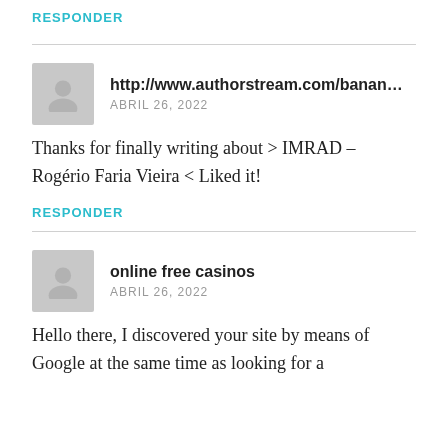RESPONDER
http://www.authorstream.com/bananacymb
ABRIL 26, 2022
Thanks for finally writing about > IMRAD – Rogério Faria Vieira < Liked it!
RESPONDER
online free casinos
ABRIL 26, 2022
Hello there, I discovered your site by means of Google at the same time as looking for a